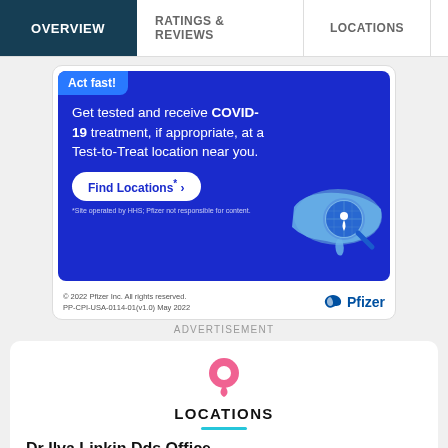OVERVIEW | RATINGS & REVIEWS | LOCATIONS | EX
[Figure (infographic): Pfizer advertisement: Act fast! Get tested and receive COVID-19 treatment, if appropriate, at a Test-to-Treat location near you. Find Locations button with US map and magnifying glass illustration. Footer: © 2022 Pfizer Inc. All rights reserved. PP-CPI-USA-0114-01(v1.0) May 2022. Pfizer logo.]
ADVERTISEMENT
LOCATIONS
Dr Ilva Linkin Dds Office